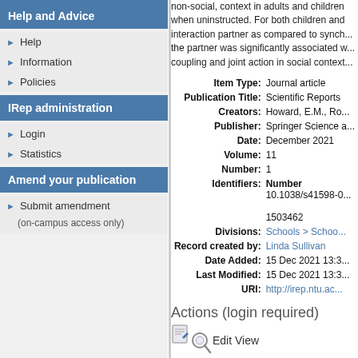Help and Advice
Help
Information
Policies
IRep administration
Login
Statistics
Amend your publication
Submit amendment
(on-campus access only)
non-social, context in adults and children when uninstructed. For both children and interaction partner as compared to synch... the partner was significantly associated w... coupling and joint action in social context...
| Field | Value |
| --- | --- |
| Item Type: | Journal article |
| Publication Title: | Scientific Reports |
| Creators: | Howard, E.M., Ro... |
| Publisher: | Springer Science a... |
| Date: | December 2021 |
| Volume: | 11 |
| Number: | 1 |
| Identifiers: | Number
10.1038/s41598-0...
1503462 |
| Divisions: | Schools > Schoo... |
| Record created by: | Linda Sullivan |
| Date Added: | 15 Dec 2021 13:3... |
| Last Modified: | 15 Dec 2021 13:3... |
| URI: | http://irep.ntu.ac... |
Actions (login required)
Edit View